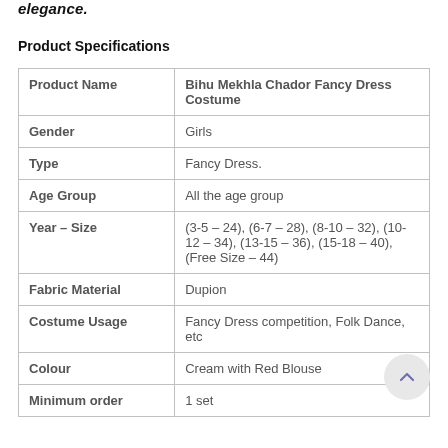elegance.
Product Specifications
|  |  |
| --- | --- |
| Product Name | Bihu Mekhla Chador Fancy Dress Costume |
| Gender | Girls |
| Type | Fancy Dress. |
| Age Group | All the age group |
| Year – Size | (3-5 – 24), (6-7 – 28), (8-10 – 32), (10-12 – 34), (13-15 – 36), (15-18 – 40), (Free Size – 44) |
| Fabric Material | Dupion |
| Costume Usage | Fancy Dress competition, Folk Dance, etc |
| Colour | Cream with Red Blouse |
| Minimum order | 1 set |